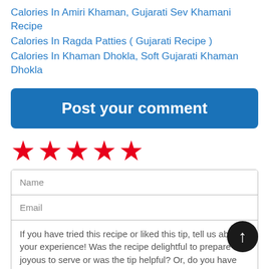Calories In Amiri Khaman, Gujarati Sev Khamani Recipe
Calories In Ragda Patties ( Gujarati Recipe )
Calories In Khaman Dhokla, Soft Gujarati Khaman Dhokla
Post your comment
[Figure (other): Five red star rating icons]
Name
Email
If you have tried this recipe or liked this tip, tell us about your experience! Was the recipe delightful to prepare and joyous to serve or was the tip helpful? Or, do you have suggestions to improve it?